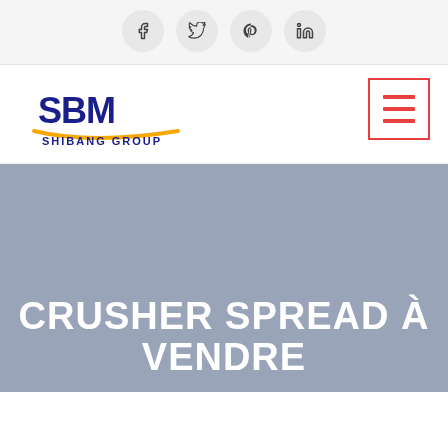[Figure (infographic): Social media share icons: Facebook, Twitter, Pinterest, LinkedIn — circular grey buttons in a light grey bar]
[Figure (logo): SBM Shibang Group logo — blue SBM letters with yellow swoosh underline and 'SHIBANG GROUP' text below]
[Figure (infographic): Hamburger menu button — three red horizontal lines inside a red rectangle border]
CRUSHER SPREAD À VENDRE